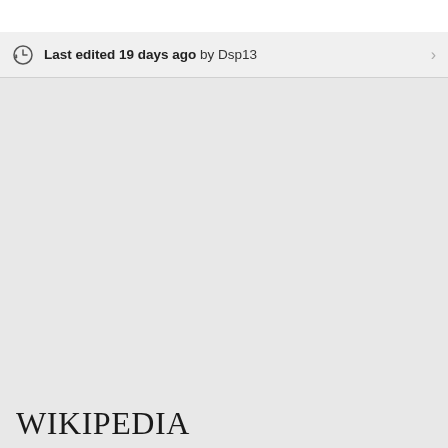Last edited 19 days ago by Dsp13
[Figure (logo): Wikipedia logo text showing 'Wikipedia' in serif small-caps font]